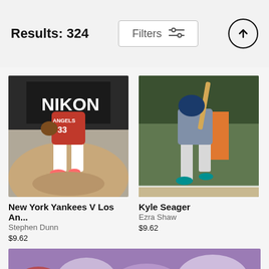Results: 324
Filters
[Figure (photo): Baseball player in Angels red uniform pitching on mound]
New York Yankees V Los An...
Stephen Dunn
$9.62
[Figure (photo): Kyle Seager baseball player in gray uniform running]
Kyle Seager
Ezra Shaw
$9.62
[Figure (photo): Baseball player wearing helmet, crowd in background]